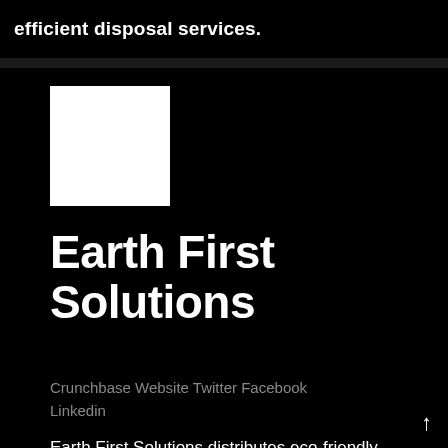efficient disposal services.
[Figure (logo): White square logo for Earth First Solutions on black background]
Earth First Solutions
Crunchbase Website Twitter Facebook Linkedin
Earth First Solutions distributes eco-friendly building products